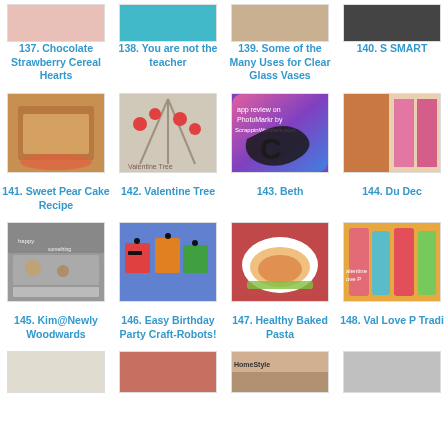[Figure (photo): Partial thumbnail 137 - chocolate strawberry cereal hearts]
[Figure (photo): Partial thumbnail 138 - you are not the teacher]
[Figure (photo): Partial thumbnail 139 - clear glass vases]
[Figure (photo): Partial thumbnail 140 - SMART board]
137. Chocolate Strawberry Cereal Hearts
138. You are not the teacher
139. Some of the Many Uses for Clear Glass Vases
140. S SMART
[Figure (photo): Sweet pear cake on plate]
[Figure (photo): Valentine tree with red hearts]
[Figure (photo): App review on PhotoMarkr by ScrappinWanders.com]
[Figure (photo): Brown paper bags and colorful bags]
141. Sweet Pear Cake Recipe
142. Valentine Tree
143. Beth
144. Du Dec
[Figure (photo): Bedroom with sign on wall]
[Figure (photo): Colorful robot birthday party craft]
[Figure (photo): Healthy baked pasta on plate]
[Figure (photo): Valentine love bottles]
145. Kim@NewlyWoodwards
146. Easy Birthday Party Craft-Robots!
147. Healthy Baked Pasta
148. Val Love P Tradi
[Figure (photo): Partial thumbnail row 4 item 1]
[Figure (photo): Partial thumbnail row 4 item 2]
[Figure (photo): Partial thumbnail row 4 item 3]
[Figure (photo): Partial thumbnail row 4 item 4]